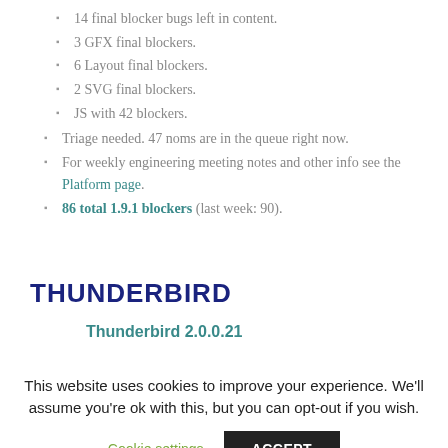14 final blocker bugs left in content.
3 GFX final blockers.
6 Layout final blockers.
2 SVG final blockers.
JS with 42 blockers.
Triage needed. 47 noms are in the queue right now.
For weekly engineering meeting notes and other info see the Platform page.
86 total 1.9.1 blockers (last week: 90).
THUNDERBIRD
Thunderbird 2.0.0.21
This website uses cookies to improve your experience. We'll assume you're ok with this, but you can opt-out if you wish.
Cookie settings  ACCEPT